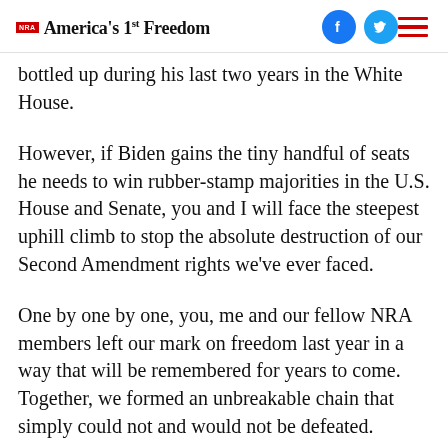NRA America's 1st Freedom
bottled up during his last two years in the White House.
However, if Biden gains the tiny handful of seats he needs to win rubber-stamp majorities in the U.S. House and Senate, you and I will face the steepest uphill climb to stop the absolute destruction of our Second Amendment rights we've ever faced.
One by one by one, you, me and our fellow NRA members left our mark on freedom last year in a way that will be remembered for years to come. Together, we formed an unbreakable chain that simply could not and would not be defeated.